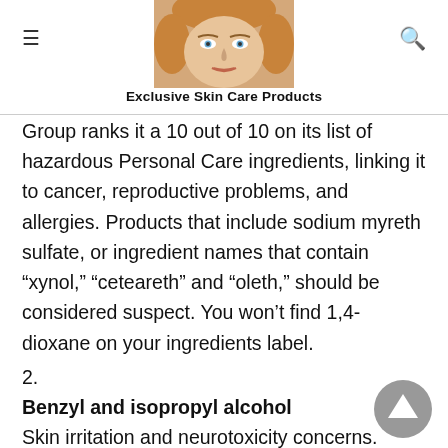Exclusive Skin Care Products
Group ranks it a 10 out of 10 on its list of hazardous Personal Care ingredients, linking it to cancer, reproductive problems, and allergies. Products that include sodium myreth sulfate, or ingredient names that contain “xynol,” “ceteareth” and “oleth,” should be considered suspect. You won’t find 1,4-dioxane on your ingredients label.
2.
Benzyl and isopropyl alcohol
Skin irritation and neurotoxicity concerns.
3.
Bismuth oxychloride
An inorganic pigment used in some mineral